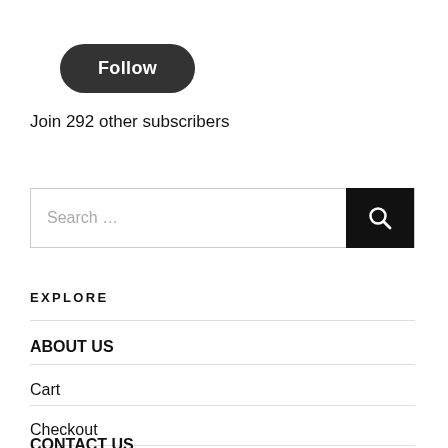[Figure (other): Follow button — dark rounded pill button with white bold text 'Follow']
Join 292 other subscribers
[Figure (other): Search input field with placeholder 'Search ...' and a black search icon button on the right]
EXPLORE
ABOUT US
Cart
Checkout
CONTACT US